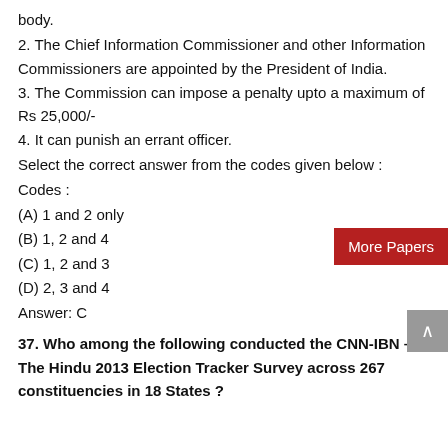body.
2. The Chief Information Commissioner and other Information Commissioners are appointed by the President of India.
3. The Commission can impose a penalty upto a maximum of Rs 25,000/-
4. It can punish an errant officer.
Select the correct answer from the codes given below :
Codes :
(A) 1 and 2 only
(B) 1, 2 and 4
(C) 1, 2 and 3
(D) 2, 3 and 4
Answer: C
37. Who among the following conducted the CNN-IBN – The Hindu 2013 Election Tracker Survey across 267 constituencies in 18 States ?